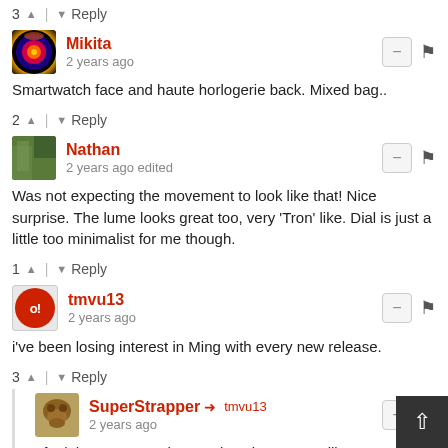3 ^ | v Reply
Mikita
2 years ago
Smartwatch face and haute horlogerie back. Mixed bag..
2 ^ | v Reply
Nathan
2 years ago edited
Was not expecting the movement to look like that! Nice surprise. The lume looks great too, very 'Tron' like. Dial is just a little too minimalist for me though.
1 ^ | v Reply
tmvu13
2 years ago
i've been losing interest in Ming with every new release.
3 ^ | v Reply
SuperStrapper → tmvu13
2 years ago
I feel the same. Each new piece just seems like a